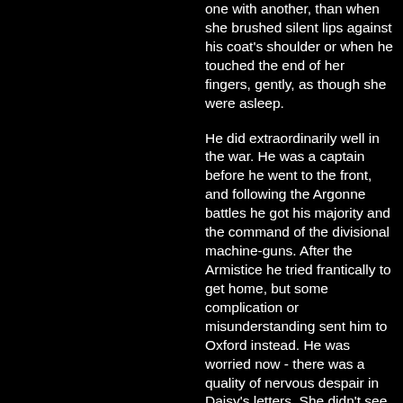one with another, than when she brushed silent lips against his coat's shoulder or when he touched the end of her fingers, gently, as though she were asleep.
He did extraordinarily well in the war. He was a captain before he went to the front, and following the Argonne battles he got his majority and the command of the divisional machine-guns. After the Armistice he tried frantically to get home, but some complication or misunderstanding sent him to Oxford instead. He was worried now - there was a quality of nervous despair in Daisy's letters. She didn't see why he couldn't come. She was feeling the pressure of the world outside, and she wanted to see him and feel his presence beside her and be reassured that she was doing the right thing after all.
For Daisy was young and her artificial world was redolent of orchids and pleasant, cheerful snobbery and orchestras which set